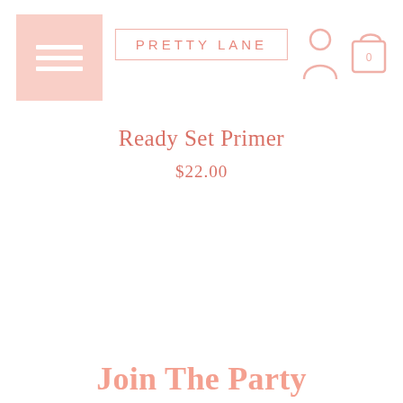PRETTY LANE
Ready Set Primer
$22.00
View All Primer
Join The Party